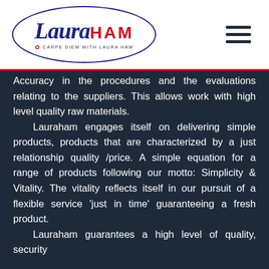[Figure (logo): Laura Ham logo — oval border containing cursive 'Laura' in navy blue and bold 'HAM' in red, with tagline 'CARPE DIEM WITH LAURA HAM' and butterfly icon below]
Accuracy in the procedures and the evaluations relating to the suppliers. This allows work with high level quality raw materials.
Lauraham engages itself on delivering simple products, products that are characterized by a just relationship quality /price. A simple equation for a range of products following our motto: Simplicity & Vitality. The vitality reflects itself in our pursuit of a flexible service 'just in time' guaranteeing a fresh product.
Lauraham guarantees a high level of quality, security